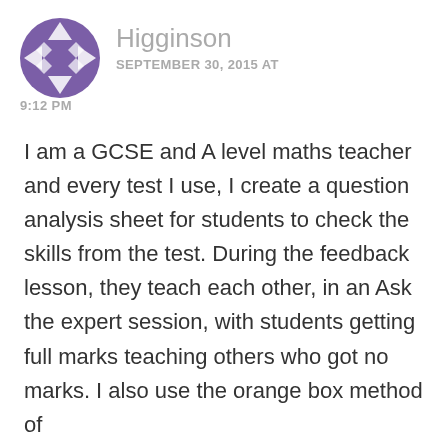[Figure (illustration): Purple geometric avatar icon with star/diamond pattern]
Higginson
SEPTEMBER 30, 2015 AT 9:12 PM
I am a GCSE and A level maths teacher and every test I use, I create a question analysis sheet for students to check the skills from the test. During the feedback lesson, they teach each other, in an Ask the expert session, with students getting full marks teaching others who got no marks. I also use the orange box method of